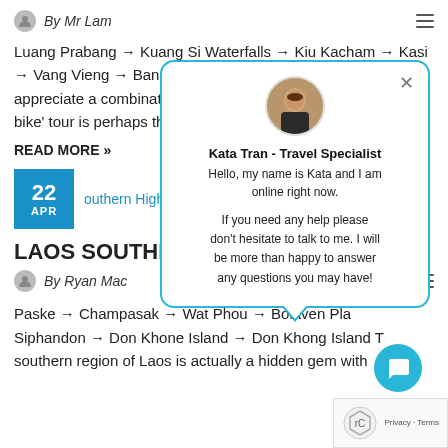By Mr Lam
Luang Prabang → Kuang Si Waterfalls → Kiu Kacham → Kasi → Vang Vieng → Ban Keune → Vientiane For those who appreciate a combination... by bike' tour is perhaps the...
READ MORE »
22 APR
outhern Highli...
LAOS SOUTHERN HIGHLIGHTS
By Ryan Mac
Paske → Champasak → Wat Phou → Bolaven Pla... Siphandon → Don Khone Island → Don Khong Island T... southern region of Laos is actually a hidden gem with
[Figure (screenshot): Chat popup from Kata Tran - Travel Specialist saying Hello, my name is Kata and I am online right now. If you need any help please don't hesitate to talk to me. I will be more than happy to answer any questions you may have!]